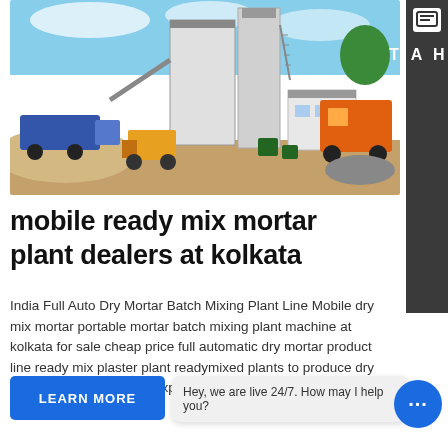[Figure (photo): Photo of a mobile ready mix mortar/concrete plant facility with industrial buildings, silos, loaders, trucks including a blue truck on the left and orange vehicle on the right, on a dirt yard with blue sky background.]
mobile ready mix mortar plant dealers at kolkata
India Full Auto Dry Mortar Batch Mixing Plant Line Mobile dry mix mortar portable mortar batch mixing plant machine at kolkata for sale cheap price full automatic dry mortar product line ready mix plaster plant readymixed plants to produce dry plaster mixing plantwas exported to peru in and the
LEARN MORE
Hey, we are live 24/7. How may I help you?